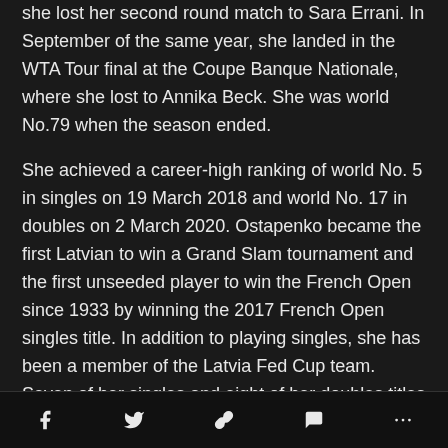she lost her second round match to Sara Errani. In September of the same year, she landed in the WTA Tour final at the Coupe Banque Nationale, where she lost to Annika Beck. She was world No.79 when the season ended.
She achieved a career-high ranking of world No. 5 in singles on 19 March 2018 and world No. 17 in doubles on 2 March 2020. Ostapenko became the first Latvian to win a Grand Slam tournament and the first unseeded player to win the French Open since 1933 by winning the 2017 French Open singles title. In addition to playing singles, she has been a member of the Latvia Fed Cup team. Seven of her singles and eight of her doubles titles have come on the ITF Women's Circuit, and she won the junior singles event at Wimbledon in 2014. In addition to her aggressive playing style, Jelenais known for her strong
social share icons: facebook, twitter, link, comment, more